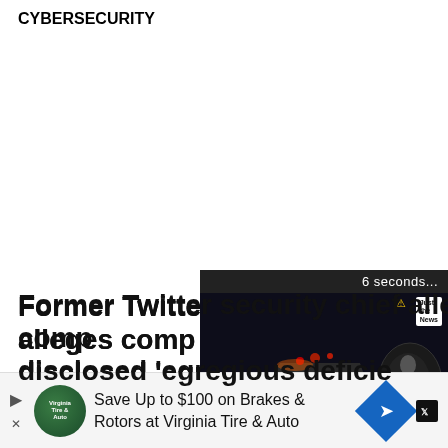CYBERSECURITY
Former Twitter security chief alleges company hasn't disclosed 'egregious deficie
[Figure (screenshot): Embedded video player overlay showing a dashcam-style nighttime road scene with video controls (pause, back, settings, fullscreen) and Just the News branding. Timer shows '6 seconds...']
[Figure (screenshot): Advertisement banner: 'Save Up to $100 on Brakes & Rotors at Virginia Tire & Auto' with Virginia Tire & Auto logo and a blue navigation arrow icon]